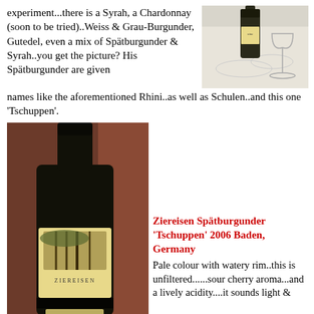experiment...there is a Syrah, a Chardonnay (soon to be tried)..Weiss & Grau-Burgunder, Gutedel, even a mix of Spätburgunder & Syrah..you get the picture? His Spätburgunder are given names like the aforementioned Rhini..as well as Schulen..and this one 'Tschuppen'.
[Figure (photo): Photo of a wine bottle and empty wine glass on a white tablecloth]
[Figure (photo): Photo of a Ziereisen wine bottle with label reading 'ZIEREISEN 2006 Tschuppen', dark bottle on brown background]
Ziereisen Spätburgunder 'Tschuppen' 2006 Baden, Germany
Pale colour with watery rim..this is unfiltered......sour cherry aroma...and a lively acidity....it sounds light &